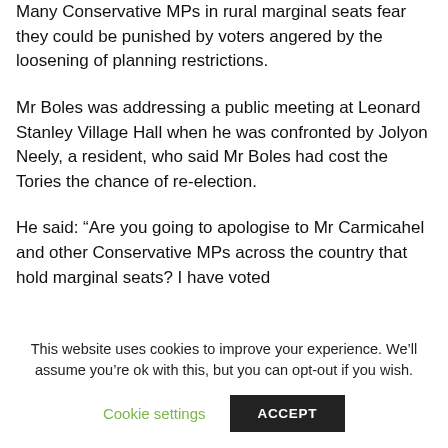Many Conservative MPs in rural marginal seats fear they could be punished by voters angered by the loosening of planning restrictions.
Mr Boles was addressing a public meeting at Leonard Stanley Village Hall when he was confronted by Jolyon Neely, a resident, who said Mr Boles had cost the Tories the chance of re-election.
He said: “Are you going to apologise to Mr Carmicahel and other Conservative MPs across the country that hold marginal seats? I have voted
This website uses cookies to improve your experience. We’ll assume you’re ok with this, but you can opt-out if you wish.
Cookie settings
ACCEPT